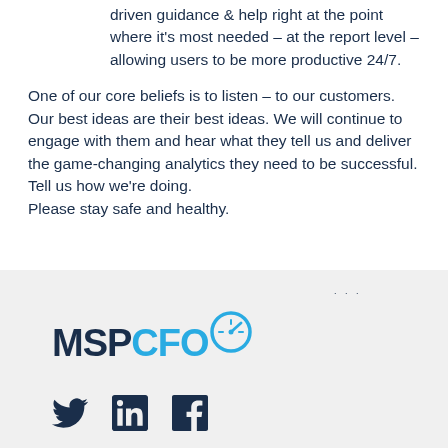driven guidance & help right at the point where it's most needed – at the report level – allowing users to be more productive 24/7.
One of our core beliefs is to listen – to our customers. Our best ideas are their best ideas. We will continue to engage with them and hear what they tell us and deliver the game-changing analytics they need to be successful. Tell us how we're doing.
Please stay safe and healthy.
[Figure (logo): MSPCFO logo with MSP in dark navy bold and CFO in light blue bold, with a circular gauge/speedometer icon after CFO and three dots above]
[Figure (infographic): Social media icons: Twitter bird, LinkedIn 'in', Facebook 'f' — all in dark navy color]